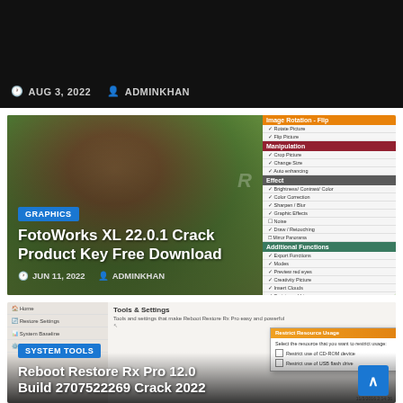AUG 3, 2022  ADMINKHAN
[Figure (screenshot): FotoWorks XL 22.0.1 Crack Product Key Free Download article card with photo of woman with flower wreath and software UI panel on right]
GRAPHICS
FotoWorks XL 22.0.1 Crack Product Key Free Download
JUN 11, 2022  ADMINKHAN
[Figure (screenshot): Reboot Restore Rx Pro 12.0 Build 2707522269 Crack 2022 article card with software screenshot showing Tools & Settings and Restrict Resource Usage dialog]
SYSTEM TOOLS
Reboot Restore Rx Pro 12.0 Build 2707522269 Crack 2022